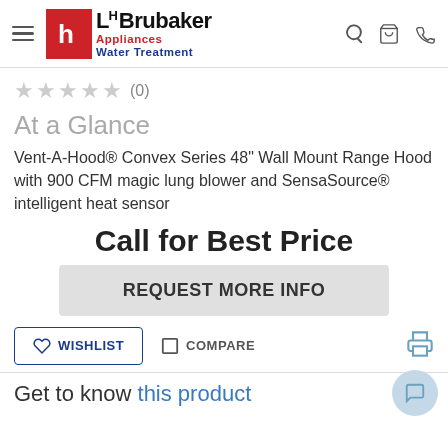LH Brubaker Appliances Water Treatment
(0) stars
At a Glance
Vent-A-Hood® Convex Series 48" Wall Mount Range Hood with 900 CFM magic lung blower and SensaSource® intelligent heat sensor
Call for Best Price
REQUEST MORE INFO
WISHLIST
COMPARE
Get to know this product